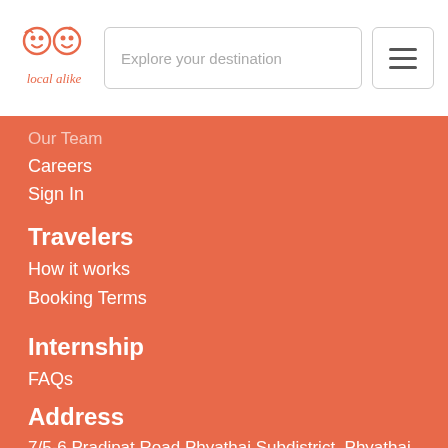[Figure (logo): Local Alike logo with two cartoon face icons and cursive text 'local alike' below]
Explore your destination
[Figure (other): Hamburger menu icon (three horizontal bars)]
Our Team
Careers
Sign In
Travelers
How it works
Booking Terms
Internship
FAQs
Address
7/5-6 Pradipat Road,Phyathai Subdistrict, Phyathai, Bangkok 10400